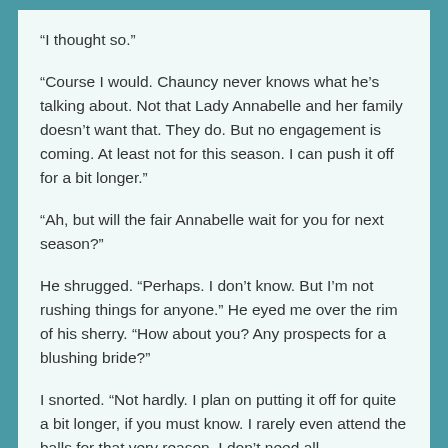“I thought so.”
“Course I would. Chauncy never knows what he’s talking about. Not that Lady Annabelle and her family  doesn’t want that. They do. But no engagement is coming. At least not for this season. I can push it off for a bit longer.”
“Ah, but will the fair Annabelle wait for you for next season?”
He shrugged. “Perhaps. I don’t know. But I’m not rushing things for anyone.” He eyed me over the rim of his sherry. “How about you? Any prospects for a blushing bride?”
I snorted. “Not hardly. I plan on putting it off for quite a bit longer, if you must know. I rarely even attend the balls for that very reason. I don’t need all